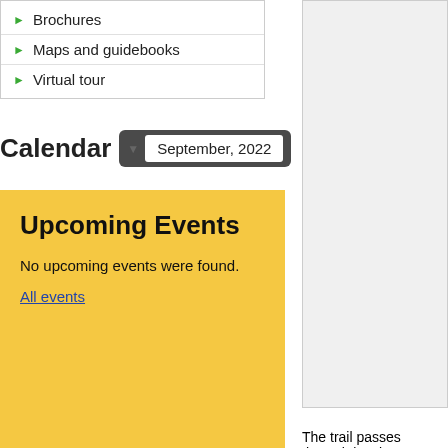Brochures
Maps and guidebooks
Virtual tour
Calendar
September, 2022
Upcoming Events
No upcoming events were found.
All events
The trail passes through lovely countr... TransRhodope trail provides both eas... pleasure for experienced ones.
The route starts at the village of Trigra... Ivaylovgrad where it ends in Madzhar...